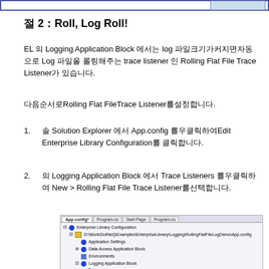절 2：Roll, Log Roll!
EL 의 Logging Application Block 에서는 log 파일크기가커지면자동으로 Log 파일을 롤링해주는 trace listener 인 Rolling Flat File Trace Listener가 있습니다.
다음순서로Rolling Flat FileTrace Listener를설정합니다.
1. 솔 Solution Explorer 에서 App.config 를우클릭하여Edit Enterprise Library Configuration를 클릭합니다.
2. 의 Logging Application Block 에서 Trace Listeners 를우클릭하여 New > Rolling Flat File Trace Listener를선택합니다.
[Figure (screenshot): Enterprise Library Configuration tool showing App.config tree with Enterprise Library Configuration, Application Settings, Data Access Application Block, Environments, and Logging Application Block nodes]